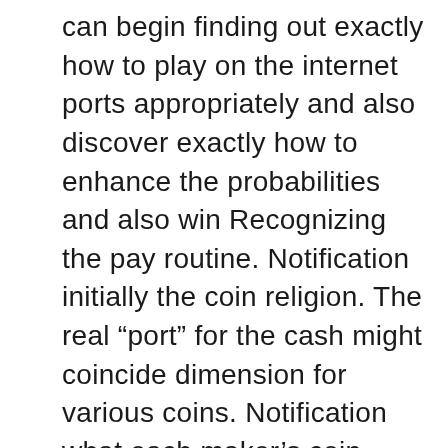can begin finding out exactly how to play on the internet ports appropriately and also discover exactly how to enhance the probabilities and also win Recognizing the pay routine. Notification initially the coin religion. The real “port” for the cash might coincide dimension for various coins. Notification what each maker’s coin religion is. Following is to comprehend the various sorts of devices The Multiplier: Claim the device pays 10 coins for 3 cherries when you play one coin, it would certainly pay 15 for the 2nd coin as well as 20 for 3 coins played. This on-line vending machine will certainly pay for a particular signs as well as the variety of coins wager after that increases it. As well as unlike various other on the internet port equipments, it will certainly not